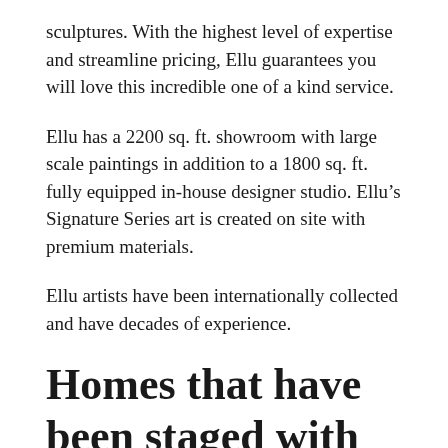sculptures. With the highest level of expertise and streamline pricing, Ellu guarantees you will love this incredible one of a kind service.
Ellu has a 2200 sq. ft. showroom with large scale paintings in addition to a 1800 sq. ft. fully equipped in-house designer studio. Ellu’s Signature Series art is created on site with premium materials.
Ellu artists have been internationally collected and have decades of experience.
Homes that have been staged with Ellu fine art: